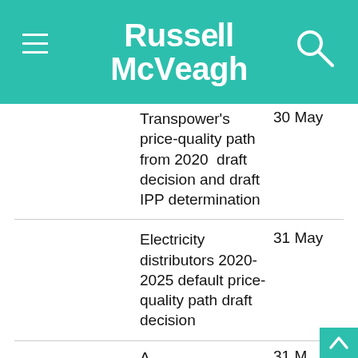[Figure (logo): Russell McVeagh law firm logo on teal background with hamburger menu icon and search icon]
|  | Description | Date |
| --- | --- | --- |
|  | Transpower's price-quality path from 2020  draft decision and draft IPP determination | 30 May |
|  | Electricity distributors 2020-2025 default price-quality path draft decision | 31 May |
|  | A... | 31 M... |